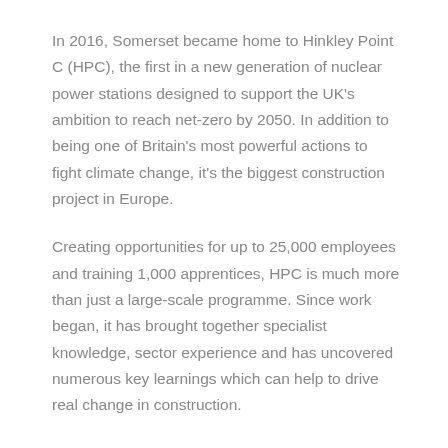In 2016, Somerset became home to Hinkley Point C (HPC), the first in a new generation of nuclear power stations designed to support the UK's ambition to reach net-zero by 2050. In addition to being one of Britain's most powerful actions to fight climate change, it's the biggest construction project in Europe.
Creating opportunities for up to 25,000 employees and training 1,000 apprentices, HPC is much more than just a large-scale programme. Since work began, it has brought together specialist knowledge, sector experience and has uncovered numerous key learnings which can help to drive real change in construction.